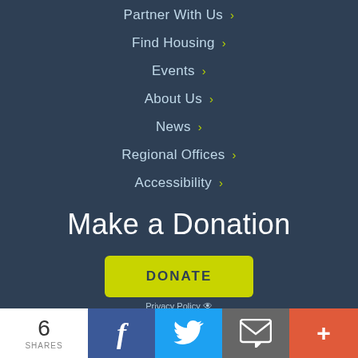Partner With Us ›
Find Housing ›
Events ›
About Us ›
News ›
Regional Offices ›
Accessibility ›
Make a Donation
DONATE
Privacy Policy
6 SHARES
f
Twitter
Email
+